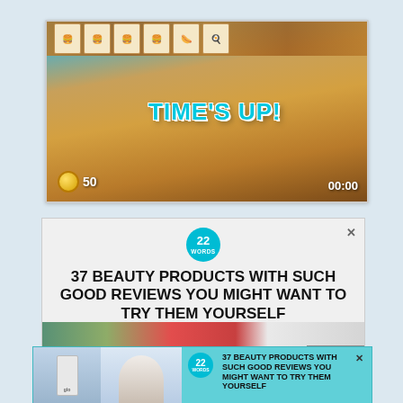[Figure (screenshot): Game screenshot showing a cooking game with 'TIME'S UP!' text overlay, score showing 50 coins, and timer showing 00:00]
[Figure (infographic): Advertisement banner: '22 WORDS' badge, headline '37 BEAUTY PRODUCTS WITH SUCH GOOD REVIEWS YOU MIGHT WANT TO TRY THEM YOURSELF', with flower/product image and CLOSE button]
[Figure (infographic): Smaller advertisement banner in teal: '22 WORDS' badge, two product images, text '37 BEAUTY PRODUCTS WITH SUCH GOOD REVIEWS YOU MIGHT WANT TO TRY THEM YOURSELF']